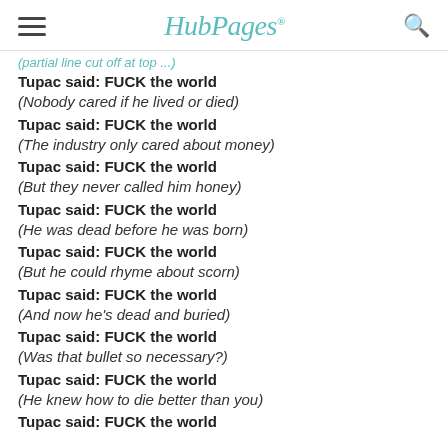HubPages
(partial line cut off at top)
Tupac said: FUCK the world
(Nobody cared if he lived or died)
Tupac said: FUCK the world
(The industry only cared about money)
Tupac said: FUCK the world
(But they never called him honey)
Tupac said: FUCK the world
(He was dead before he was born)
Tupac said: FUCK the world
(But he could rhyme about scorn)
Tupac said: FUCK the world
(And now he's dead and buried)
Tupac said: FUCK the world
(Was that bullet so necessary?)
Tupac said: FUCK the world
(He knew how to die better than you)
Tupac said: FUCK the world
(partial — cut off at bottom)